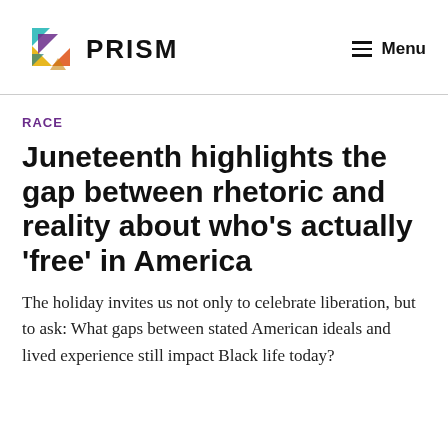[Figure (logo): PRISM logo with colorful triangular geometric shapes in yellow, teal, purple, and orange, followed by the word PRISM in bold black letters]
≡ Menu
RACE
Juneteenth highlights the gap between rhetoric and reality about who's actually 'free' in America
The holiday invites us not only to celebrate liberation, but to ask: What gaps between stated American ideals and lived experience still impact Black life today?